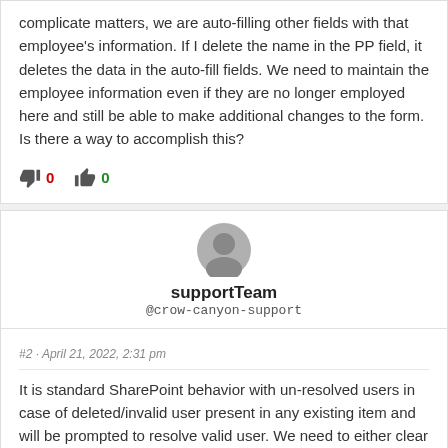complicate matters, we are auto-filling other fields with that employee's information. If I delete the name in the PP field, it deletes the data in the auto-fill fields. We need to maintain the employee information even if they are no longer employed here and still be able to make additional changes to the form. Is there a way to accomplish this?
Thumbs down: 0, Thumbs up: 0
supportTeam @crow-canyon-support
#2 · April 21, 2022, 2:31 pm
It is standard SharePoint behavior with un-resolved users in case of deleted/invalid user present in any existing item and will be prompted to resolve valid user. We need to either clear the person or group column or set a valid user as required. Since there are auto-fill settings also configured here, when we remove invalid user, related